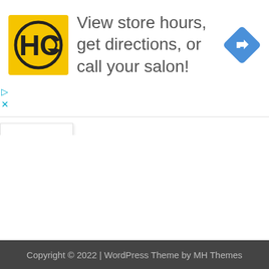[Figure (screenshot): Advertisement banner with HC (Hair Club) yellow square logo on left, text 'View store hours, get directions, or call your salon!' in gray, and a blue diamond-shaped directions icon on the right. Below the ad are two small controls (play triangle and X) in teal/cyan.]
[Figure (screenshot): A tab/collapse button with an upward chevron (^) inside a white rounded box with drop shadow, positioned at the top-left of the content area.]
Copyright © 2022 | WordPress Theme by MH Themes